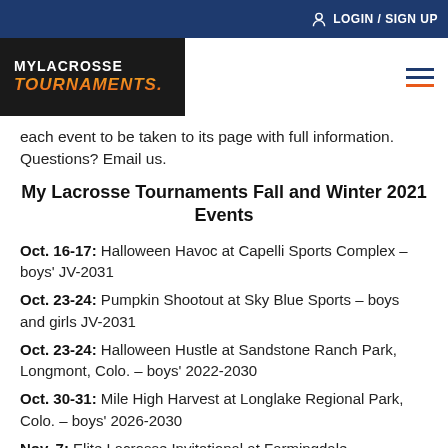LOGIN / SIGN UP
[Figure (logo): MyLacrosse Tournaments logo — white text MYLACROSSE on black background, TOURNAMENTS in orange/italic below]
each event to be taken to its page with full information. Questions? Email us.
My Lacrosse Tournaments Fall and Winter 2021 Events
Oct. 16-17: Halloween Havoc at Capelli Sports Complex – boys' JV-2031
Oct. 23-24: Pumpkin Shootout at Sky Blue Sports – boys and girls JV-2031
Oct. 23-24: Halloween Hustle at Sandstone Ranch Park, Longmont, Colo. – boys' 2022-2030
Oct. 30-31: Mile High Harvest at Longlake Regional Park, Colo. – boys' 2026-2030
Nov. 7: Elite Lacrosse Invitational at Farmingdale